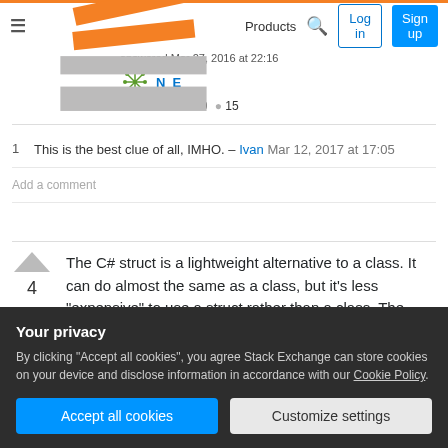≡ [Stack Overflow Logo] Products 🔍 Log in Sign up
answered Mar 27, 2016 at 22:16
N_E 727 ● 10 ● 15
1 This is the best clue of all, IMHO. – Ivan Mar 12, 2017 at 17:05
Add a comment
The C# struct is a lightweight alternative to a class. It can do almost the same as a class, but it's less "expensive" to use a struct rather than a class. The
Your privacy
By clicking "Accept all cookies", you agree Stack Exchange can store cookies on your device and disclose information in accordance with our Cookie Policy.
Accept all cookies
Customize settings
means that when you pass a struct to a function, it